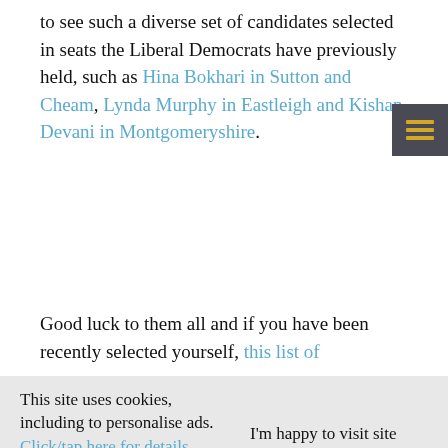to see such a diverse set of candidates selected in seats the Liberal Democrats have previously held, such as Hina Bokhari in Sutton and Cheam, Lynda Murphy in Eastleigh and Kishan Devani in Montgomeryshire.
Good luck to them all and if you have been recently selected yourself, this list of
This site uses cookies, including to personalise ads. Click/tap here for details.
I'm happy to visit site